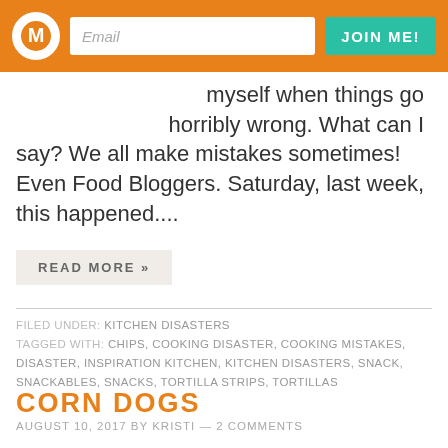Email | JOIN ME!
myself when things go horribly wrong. What can I say? We all make mistakes sometimes! Even Food Bloggers. Saturday, last week, this happened....
READ MORE »
FILED UNDER: KITCHEN DISASTERS
TAGGED WITH: CHIPS, COOKING DISASTER, COOKING MISTAKES, DISASTER, INSPIRATION KITCHEN, KITCHEN DISASTERS, SNACK, SNACKABLES, SNACKS, TORTILLA STRIPS, TORTILLAS
CORN DOGS
AUGUST 10, 2017 BY KRISTI — 2 COMMENTS
These homemade Corn Dogs